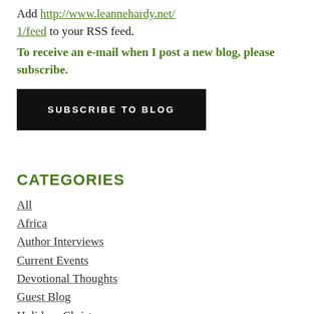Add http://www.leannehardy.net/1/feed to your RSS feed.
To receive an e-mail when I post a new blog, please subscribe.
SUBSCRIBE TO BLOG
CATEGORIES
All
Africa
Author Interviews
Current Events
Devotional Thoughts
Guest Blog
Holidays Christmas
Holidays Easter